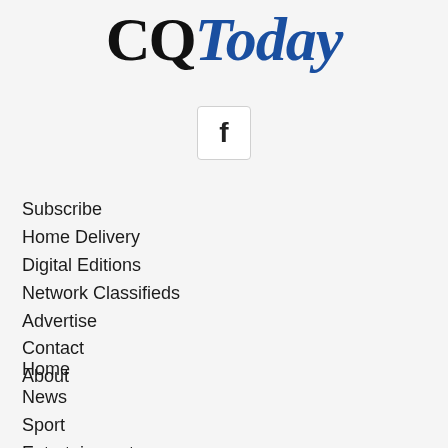CQToday
[Figure (logo): Facebook social media icon button, a square with rounded corners containing the letter f]
Subscribe
Home Delivery
Digital Editions
Network Classifieds
Advertise
Contact
About
Home
News
Sport
Entertainment